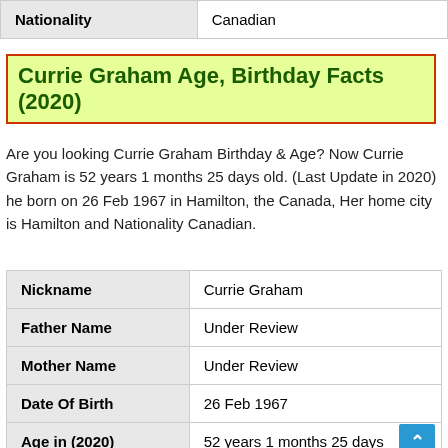| Nationality |  |
| --- | --- |
| Nationality | Canadian |
Currie Graham Age, Birthday Facts (2020)
Are you looking Currie Graham Birthday & Age? Now Currie Graham is 52 years 1 months 25 days old. (Last Update in 2020) he born on 26 Feb 1967 in Hamilton, the Canada, Her home city is Hamilton and Nationality Canadian.
| Field | Value |
| --- | --- |
| Nickname | Currie Graham |
| Father Name | Under Review |
| Mother Name | Under Review |
| Date Of Birth | 26 Feb 1967 |
| Age in (2020) | 52 years 1 months 25 days |
| Birth City Name | Hamilton |